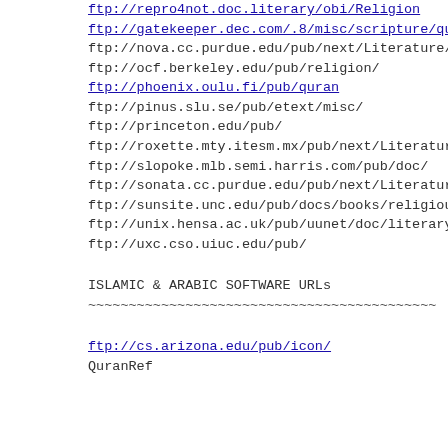ftp://repro4not.doc.literary/obi/Religion
ftp://gatekeeper.dec.com/.8/misc/scripture/qura
ftp://nova.cc.purdue.edu/pub/next/Literature/wo
ftp://ocf.berkeley.edu/pub/religion/
ftp://phoenix.oulu.fi/pub/quran
ftp://pinus.slu.se/pub/etext/misc/
ftp://princeton.edu/pub/
ftp://roxette.mty.itesm.mx/pub/next/Literature/
ftp://slopoke.mlb.semi.harris.com/pub/doc/
ftp://sonata.cc.purdue.edu/pub/next/Literature/
ftp://sunsite.unc.edu/pub/docs/books/religious/
ftp://unix.hensa.ac.uk/pub/uunet/doc/literary/c
ftp://uxc.cso.uiuc.edu/pub/
ISLAMIC & ARABIC SOFTWARE URLs
ftp://cs.arizona.edu/pub/icon/
QuranRef